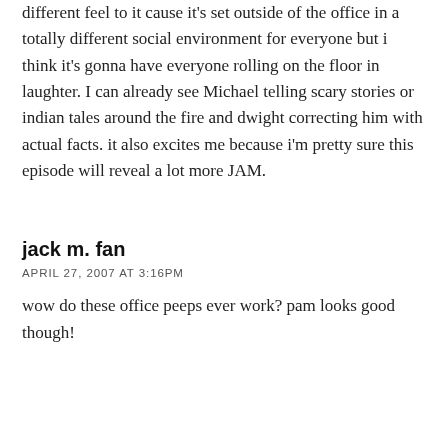different feel to it cause it's set outside of the office in a totally different social environment for everyone but i think it's gonna have everyone rolling on the floor in laughter. I can already see Michael telling scary stories or indian tales around the fire and dwight correcting him with actual facts. it also excites me because i'm pretty sure this episode will reveal a lot more JAM.
jack m. fan
APRIL 27, 2007 AT 3:16PM
wow do these office peeps ever work? pam looks good though!